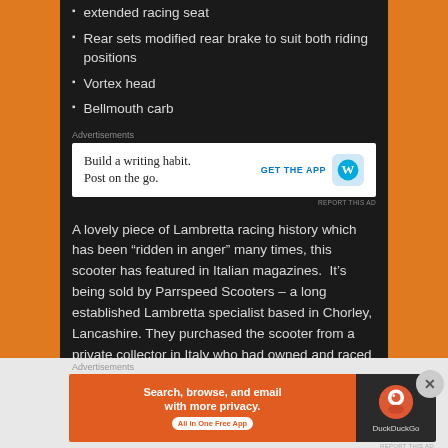extended racing seat
Rear sets modified rear brake to suit both riding positions
Vortex head
Bellmouth carb
Advertisements
[Figure (other): WordPress app advertisement: Build a writing habit. Post on the go. GET THE APP with WordPress logo]
REPORT THIS AD
A lovely piece of Lambretta racing history which has been “ridden in anger” many times, this scooter has featured in Italian magazines.  It’s being sold by Parrspeed Scooters – a long established Lambretta specialist based in Chorley, Lancashire. They purchased the scooter from a private collector in Italy who had owned and raced her for many
Advertisements
[Figure (other): DuckDuckGo advertisement: Search, browse, and email with more privacy. All in One Free App]